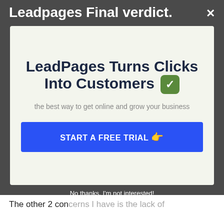Leadpages Final verdict.
[Figure (screenshot): Modal popup with headline 'LeadPages Turns Clicks Into Customers' with green checkmark, subtitle 'the best way to get online and grow your business', and blue CTA button 'START A FREE TRIAL']
No thanks, I'm not interested!
The other 2 concerns I have is the lack of